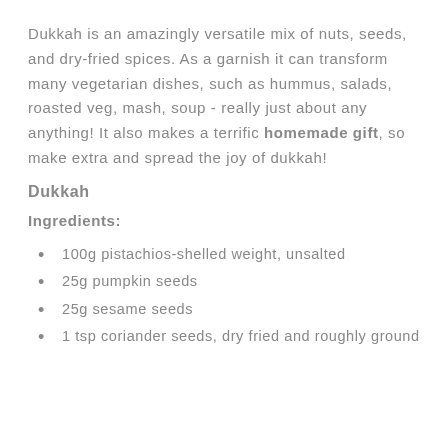Dukkah is an amazingly versatile mix of nuts, seeds, and dry-fried spices. As a garnish it can transform many vegetarian dishes, such as hummus, salads, roasted veg, mash, soup - really just about any anything! It also makes a terrific homemade gift, so make extra and spread the joy of dukkah!
Dukkah
Ingredients:
100g pistachios-shelled weight, unsalted
25g pumpkin seeds
25g sesame seeds
1 tsp coriander seeds, dry fried and roughly ground